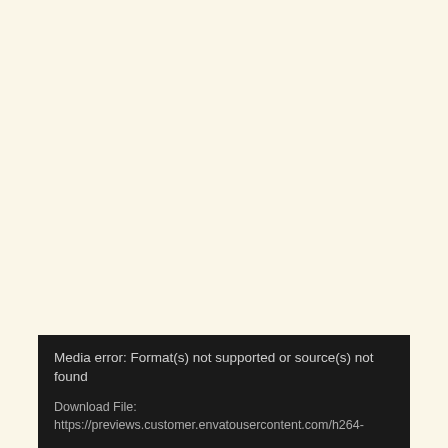[Figure (other): Large blank cream/off-white area representing a media player with a failed video load]
Media error: Format(s) not supported or source(s) not found

Download File: https://previews.customer.envatousercontent.com/h264-